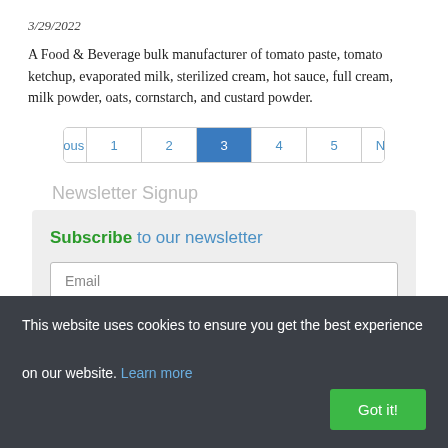3/29/2022
A Food & Beverage bulk manufacturer of tomato paste, tomato ketchup, evaporated milk, sterilized cream, hot sauce, full cream, milk powder, oats, cornstarch, and custard powder.
[Figure (infographic): Pagination control showing Previous, 1, 2, 3 (active/highlighted), 4, 5, Next buttons]
Newsletter Signup
Subscribe to our newsletter
Email
This website uses cookies to ensure you get the best experience on our website. Learn more
Got it!